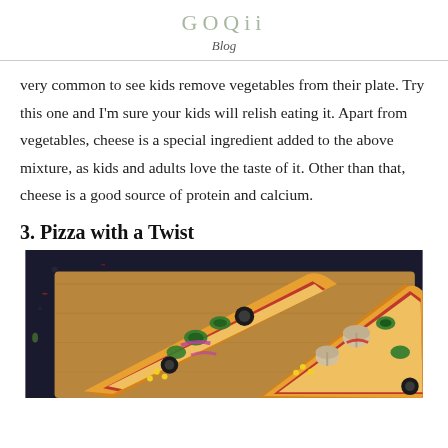GOQii
Blog
very common to see kids remove vegetables from their plate. Try this one and I'm sure your kids will relish eating it. Apart from vegetables, cheese is a special ingredient added to the above mixture, as kids and adults love the taste of it. Other than that, cheese is a good source of protein and calcium.
3. Pizza with a Twist
[Figure (photo): Two slices of vegetable pizza with toppings including jalapeños, black olives, corn, mushrooms, and onions on a wooden cutting board against a dark background]